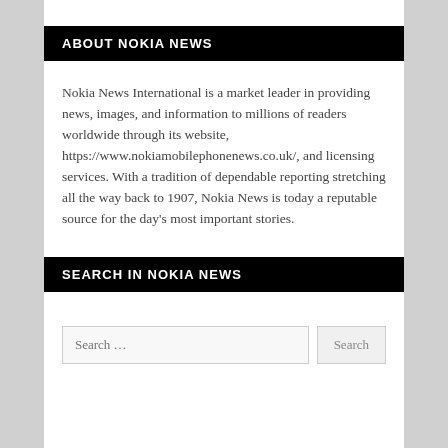ABOUT NOKIA NEWS
Nokia News International is a market leader in providing news, images, and information to millions of readers worldwide through its website, https://www.nokiamobilephonenews.co.uk/, and licensing services. With a tradition of dependable reporting stretching all the way back to 1907, Nokia News is today a reputable source for the day's most important stories.
SEARCH IN NOKIA NEWS